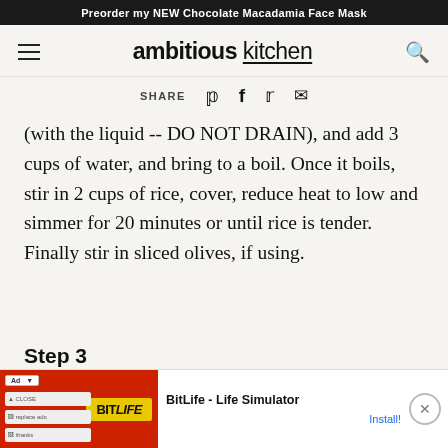Preorder my NEW Chocolate Macadamia Face Mask
[Figure (screenshot): Ambitious Kitchen website navigation bar with hamburger menu icon on the left, 'ambitious kitchen' logo in the center, and search icon on the right]
SHARE [Pinterest] [Facebook] [Twitter] [Email]
(with the liquid -- DO NOT DRAIN), and add 3 cups of water, and bring to a boil. Once it boils, stir in 2 cups of rice, cover, reduce heat to low and simmer for 20 minutes or until rice is tender. Finally stir in sliced olives, if using.
Step 3
[Figure (screenshot): Advertisement banner for BitLife - Life Simulator with 'You can't sit with us' text and Install button]